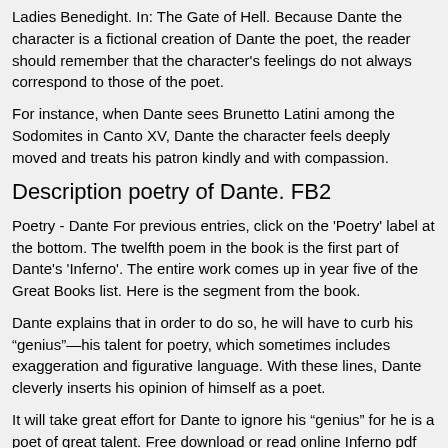Ladies Benedight. In: The Gate of Hell. Because Dante the character is a fictional creation of Dante the poet, the reader should remember that the character's feelings do not always correspond to those of the poet.
For instance, when Dante sees Brunetto Latini among the Sodomites in Canto XV, Dante the character feels deeply moved and treats his patron kindly and with compassion.
Description poetry of Dante. FB2
Poetry - Dante For previous entries, click on the 'Poetry' label at the bottom. The twelfth poem in the book is the first part of Dante's 'Inferno'. The entire work comes up in year five of the Great Books list. Here is the segment from the book.
Dante explains that in order to do so, he will have to curb his “genius”—his talent for poetry, which sometimes includes exaggeration and figurative language. With these lines, Dante cleverly inserts his opinion of himself as a poet.
It will take great effort for Dante to ignore his “genius” for he is a poet of great talent. Free download or read online Inferno pdf (ePUB) book. The first edition of the novel was published inand was written by Dante Alighieri. The book was published in multiple languages including English, consists of pages and is